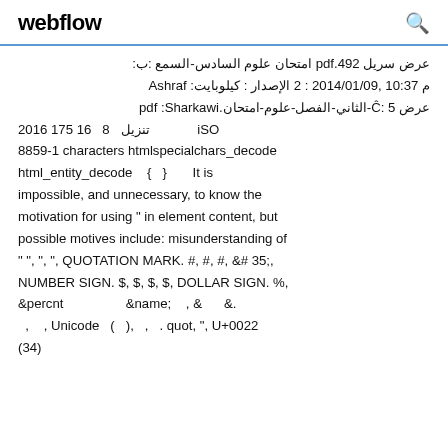webflow
عرض سريل 492.pdf امتحان علوم السادس-السمع :ب: كيلوبايت: Ashraf الإصدار : 2 : 2014/01/09 ,10:37 م Sharkawi: Ĉ: 5-الثاني-الفصل-علوم-امتحان.pdf عرض 2016 175 تنزيل 8 16 ISO 8859-1 characters htmlspecialchars_decode html_entity_decode { } It is impossible, and unnecessary, to know the motivation for using " in element content, but possible motives include: misunderstanding of " ", ", QUOTATION MARK. #, #, #, &# 35;, NUMBER SIGN. $, $, $, $, DOLLAR SIGN. %, &percnt &name; , & &. , , Unicode ( ), , . quot, ", U+0022 (34)